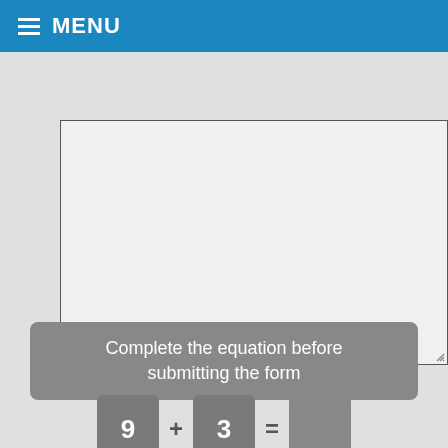MENU
[Figure (screenshot): Empty textarea input field with a resize handle in the bottom-right corner]
Complete the equation before submitting the form